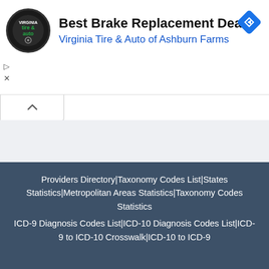[Figure (screenshot): Advertisement banner: Virginia Tire & Auto of Ashburn Farms - Best Brake Replacement Deal, with logo and navigation icon]
Providers Directory|Taxonomy Codes List|States Statistics|Metropolitan Areas Statistics|Taxonomy Codes Statistics
ICD-9 Diagnosis Codes List|ICD-10 Diagnosis Codes List|ICD-9 to ICD-10 Crosswalk|ICD-10 to ICD-9